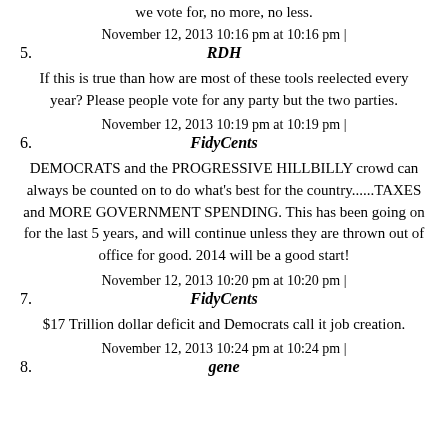we vote for, no more, no less.
November 12, 2013 10:16 pm at 10:16 pm |
5. RDH
If this is true than how are most of these tools reelected every year? Please people vote for any party but the two parties.
November 12, 2013 10:19 pm at 10:19 pm |
6. FidyCents
DEMOCRATS and the PROGRESSIVE HILLBILLY crowd can always be counted on to do what's best for the country......TAXES and MORE GOVERNMENT SPENDING. This has been going on for the last 5 years, and will continue unless they are thrown out of office for good. 2014 will be a good start!
November 12, 2013 10:20 pm at 10:20 pm |
7. FidyCents
$17 Trillion dollar deficit and Democrats call it job creation.
November 12, 2013 10:24 pm at 10:24 pm |
8. gene